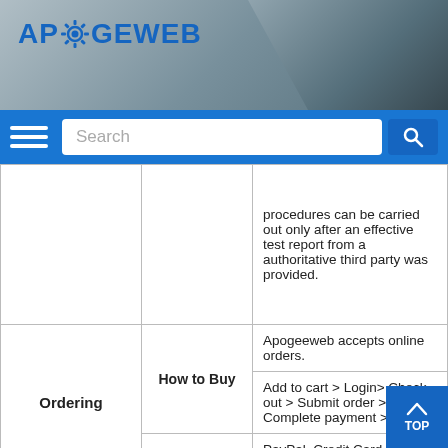[Figure (screenshot): ApogeWeb website header with logo and chip image background]
APOGEEWEB — Search bar navigation
| Category | Sub-category | Description |
| --- | --- | --- |
|  |  | procedures can be carried out only after an effective test report from a authoritative third party was provided. |
| Ordering | How to Buy | Apogeeweb accepts online orders. |
| Ordering | How to Buy | Add to cart > Login> Check out > Submit order > Complete payment >Delivery |
| Ordering | Payment | PayPal, Credit Card, Wire Transfer and Western Union |